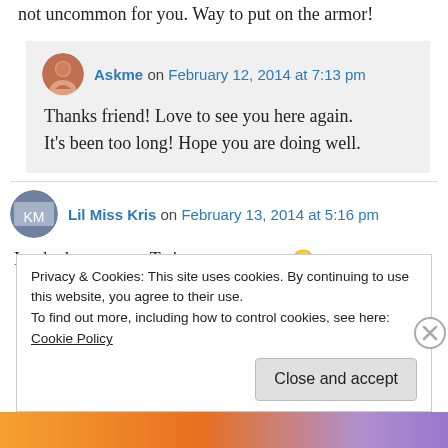not uncommon for you. Way to put on the armor!
Askme on February 12, 2014 at 7:13 pm
Thanks friend! Love to see you here again. It's been too long! Hope you are doing well.
Lil Miss Kris on February 13, 2014 at 5:16 pm
Looked you up on Twitter – no tweets 😕
Privacy & Cookies: This site uses cookies. By continuing to use this website, you agree to their use.
To find out more, including how to control cookies, see here: Cookie Policy
Close and accept